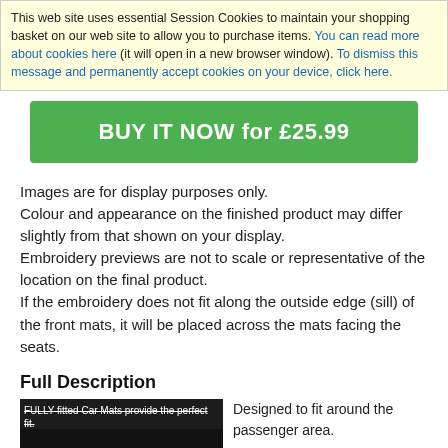This web site uses essential Session Cookies to maintain your shopping basket on our web site to allow you to purchase items. You can read more about cookies here (it will open in a new browser window). To dismiss this message and permanently accept cookies on your device, click here.
BUY IT NOW for £25.99
Images are for display purposes only.
Colour and appearance on the finished product may differ slightly from that shown on your display.
Embroidery previews are not to scale or representative of the location on the final product.
If the embroidery does not fit along the outside edge (sill) of the front mats, it will be placed across the mats facing the seats.
Full Description
FULLY fitted Car Mats provide the perfect fit. Designed to fit around the passenger area. Made specially for your Audi R8, to fit. will protect them from. most products include a locking mechanism to prevent movement (depending on the model of vehicle). All carpet mats have a slip-
[Figure (photo): Dark car mat product photo preview]
(A preview of the options you have chosen)